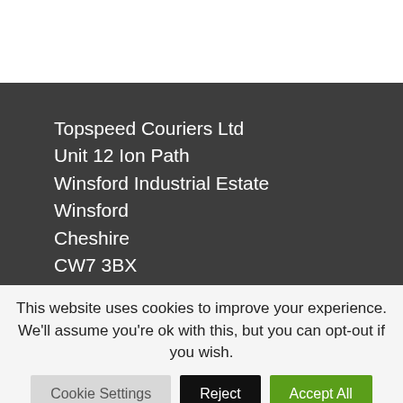Topspeed Couriers Ltd
Unit 12 Ion Path
Winsford Industrial Estate
Winsford
Cheshire
CW7 3BX

Registered in England No: 2355055

01565 631840
info@topspeedcouriers.co.uk
This website uses cookies to improve your experience. We'll assume you're ok with this, but you can opt-out if you wish.